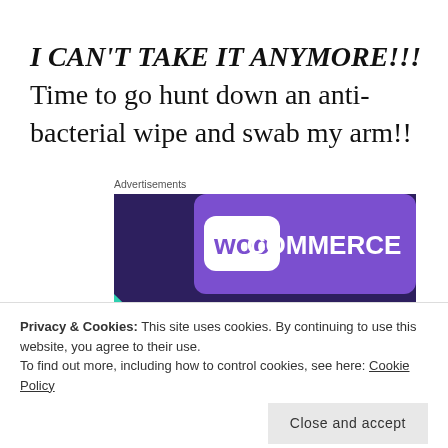I CAN'T TAKE IT ANYMORE!!! Time to go hunt down an anti-bacterial wipe and swab my arm!!
Advertisements
[Figure (screenshot): WooCommerce advertisement banner with purple background showing 'WOO COMMERCE' logo and text 'Turn your hobby into a business in 8 steps']
Privacy & Cookies: This site uses cookies. By continuing to use this website, you agree to their use.
To find out more, including how to control cookies, see here: Cookie Policy
Close and accept
Share this: